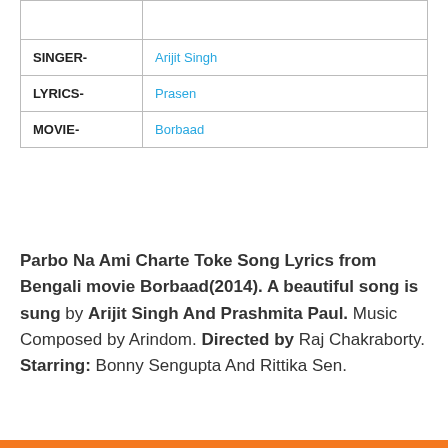|  |  |
| SINGER- | Arijit Singh |
| LYRICS- | Prasen |
| MOVIE- | Borbaad |
Parbo Na Ami Charte Toke Song Lyrics from Bengali movie Borbaad(2014). A beautiful song is sung by Arijit Singh And Prashmita Paul. Music Composed by Arindom. Directed by Raj Chakraborty. Starring: Bonny Sengupta And Rittika Sen.